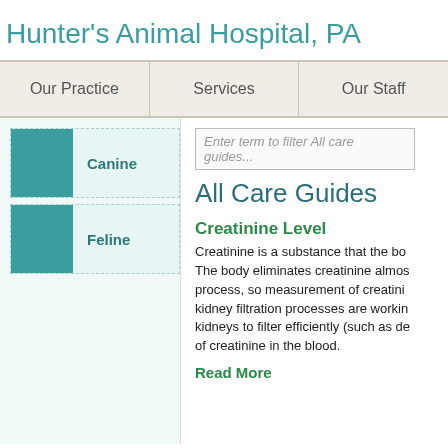Hunter's Animal Hospital, PA
Our Practice | Services | Our Staff
Canine
Feline
Enter term to filter All care guides...
All Care Guides
Creatinine Level
Creatinine is a substance that the bo... The body eliminates creatinine almos... process, so measurement of creatini... kidney filtration processes are workin... kidneys to filter efficiently (such as de... of creatinine in the blood.
Read More